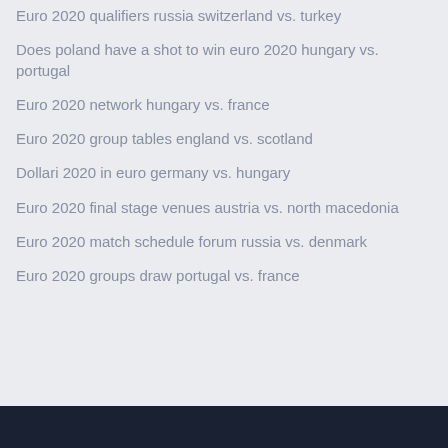Euro 2020 qualifiers russia switzerland vs. turkey
Does poland have a shot to win euro 2020 hungary vs. portugal
Euro 2020 network hungary vs. france
Euro 2020 group tables england vs. scotland
Dollari 2020 in euro germany vs. hungary
Euro 2020 final stage venues austria vs. north macedonia
Euro 2020 match schedule forum russia vs. denmark
Euro 2020 groups draw portugal vs. france